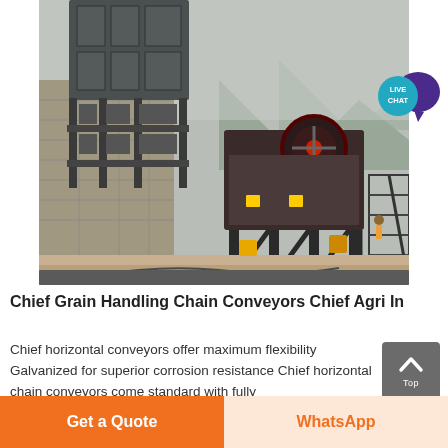[Figure (photo): Outdoor construction site photo showing a large industrial jaw crusher/stone crushing machine on a steel frame platform, next to a concrete block structure with metal framework. Mountains visible in background. Various equipment and cables on ground.]
Chief Grain Handling Chain Conveyors Chief Agri In
Chief horizontal conveyors offer maximum flexibility Galvanized for superior corrosion resistance Chief horizontal chain conveyors come standard with fully
[Figure (infographic): Live Chat speech bubble badge — teal circle with purple chat bubble and white text LIVE CHAT]
[Figure (infographic): Grey square button with white upward chevron arrow and label Top]
Get a Quote
WhatsApp